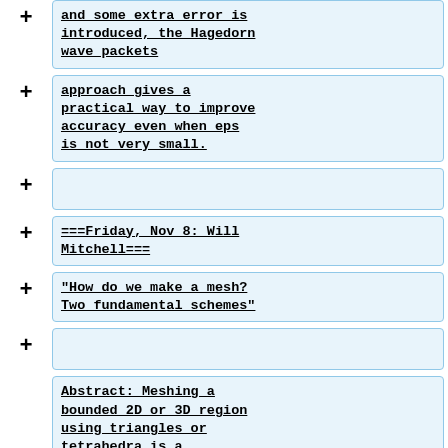and some extra error is introduced, the Hagedorn wave packets
approach gives a practical way to improve accuracy even when eps is not very small.
===Friday, Nov 8: Will Mitchell===
"How do we make a mesh? Two fundamental schemes"
Abstract: Meshing a bounded 2D or 3D region using triangles or tetrahedra is a